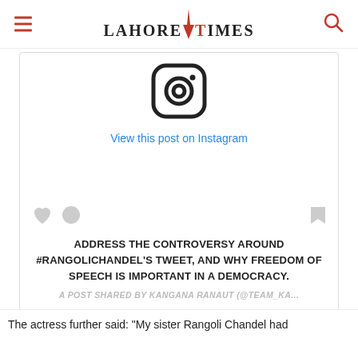LAHORE TIMES
[Figure (screenshot): Instagram embed card showing the Instagram logo icon at top, a blue link 'View this post on Instagram', social action icons (heart, comment, bookmark), bold caption text 'ADDRESS THE CONTROVERSY AROUND #RANGOLICHANDEL'S TWEET, AND WHY FREEDOM OF SPEECH IS IMPORTANT IN A DEMOCRACY.', and attribution 'A POST SHARED BY KANGANA RANAUT (@TEAM_KA...']
The actress further said: "My sister Rangoli Chandel had